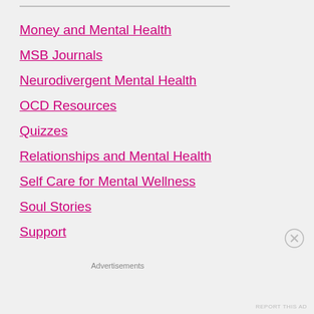Money and Mental Health
MSB Journals
Neurodivergent Mental Health
OCD Resources
Quizzes
Relationships and Mental Health
Self Care for Mental Wellness
Soul Stories
Support
Advertisements